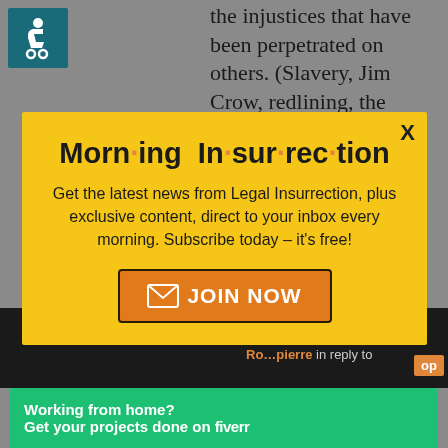[Figure (screenshot): Accessibility wheelchair icon on teal background, top left corner]
the injustices that have been perpetrated on others. (Slavery, Jim Crow, redlining, the ...
[Figure (infographic): Yellow modal popup for Morning Insurrection newsletter subscription with JOIN NOW button]
[Figure (screenshot): Close X button and Ro...pierre in reply to text with orange 'to top' label on dark bar]
[Figure (infographic): Green Fiverr advertisement banner: Working from home? Get your projects done on fiverr]